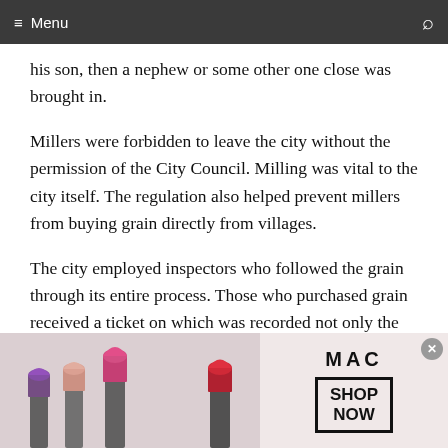≡ Menu
his son, then a nephew or some other one close was brought in.
Millers were forbidden to leave the city without the permission of the City Council. Milling was vital to the city itself. The regulation also helped prevent millers from buying grain directly from villages.
The city employed inspectors who followed the grain through its entire process. Those who purchased grain received a ticket on which was recorded not only the particulars of the purchase, but also at which mill it
[Figure (photo): MAC cosmetics advertisement banner showing colorful lipsticks (purple, pink, coral, red) on the left side, MAC logo text in the center, and a 'SHOP NOW' button in a black bordered box on the right.]